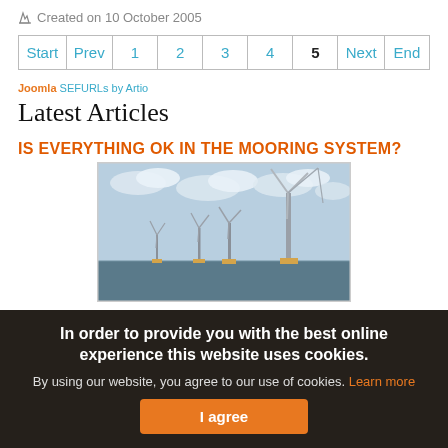Created on 10 October 2005
| Start | Prev | 1 | 2 | 3 | 4 | 5 | Next | End |
| --- | --- | --- | --- | --- | --- | --- | --- | --- |
Joomla SEFURLs by Artio
Latest Articles
IS EVERYTHING OK IN THE MOORING SYSTEM?
[Figure (photo): Offshore wind farm with multiple wind turbines in the sea under a cloudy sky]
In order to provide you with the best online experience this website uses cookies.
By using our website, you agree to our use of cookies. Learn more
I agree